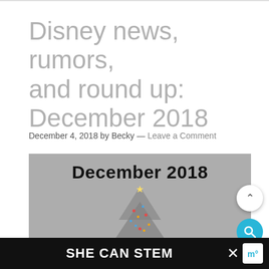Disney news, rumors, and round up: December 2018
December 4, 2018 by Becky — Leave a Comment
[Figure (photo): Blog post header image showing 'December 2018' text over a grey background with a lit Christmas tree figure below]
SHE CAN STEM